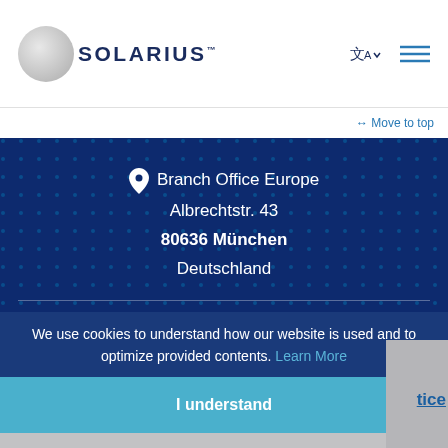SOLARIUS
→ Move to top
Branch Office Europe
Albrechtstr. 43
80636 München
Deutschland
+49 89 1800 6254
We use cookies to understand how our website is used and to optimize provided contents. Learn More
I understand